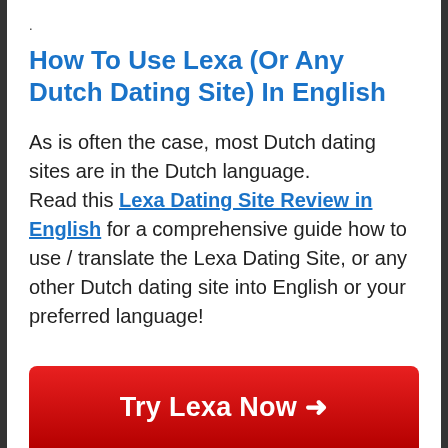.
How To Use Lexa (Or Any Dutch Dating Site) In English
As is often the case, most Dutch dating sites are in the Dutch language.
Read this Lexa Dating Site Review in English for a comprehensive guide how to use / translate the Lexa Dating Site, or any other Dutch dating site into English or your preferred language!
[Figure (other): Red button with white bold text: Try Lexa Now →]